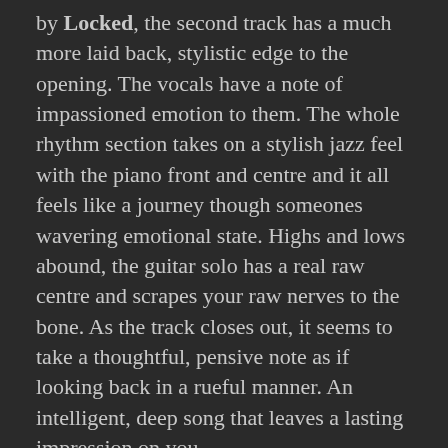by Locked, the second track has a much more laid back, stylistic edge to the opening. The vocals have a note of impassioned emotion to them. The whole rhythm section takes on a stylish jazz feel with the piano front and centre and it all feels like a journey though someones wavering emotional state. Highs and lows abound, the guitar solo has a real raw centre and scrapes your raw nerves to the bone. As the track closes out, it seems to take a thoughtful, pensive note as if looking back in a rueful manner. An intelligent, deep song that leaves a lasting impression on you.
A more discordant note opens Fragments of Sleep, counterbalanced by a repeated one note piano melody over which Aaron's recognisable voice delivers the story. It is almost like you are having an interrupted night's sleep with the rhythm and sound having a fuzzy, jarred edge to it, all sharp edges and